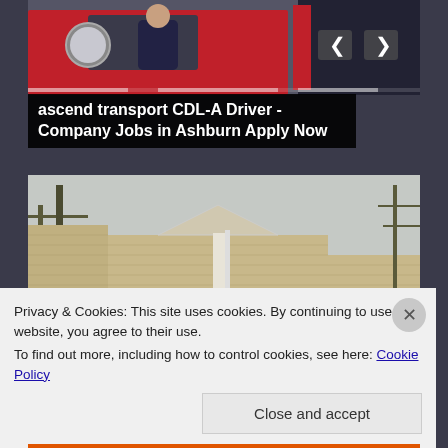[Figure (photo): A truck driver leaning out of a red truck cab, with a large side mirror visible. The background shows the dark gray page background.]
ascend transport CDL-A Driver - Company Jobs in Ashburn Apply Now
[Figure (photo): A beige/tan vinyl-sided house or building exterior with gabled roof trim, windows with shutters, and bare trees in the background under an overcast sky.]
Privacy & Cookies: This site uses cookies. By continuing to use this website, you agree to their use.
To find out more, including how to control cookies, see here: Cookie Policy
Close and accept